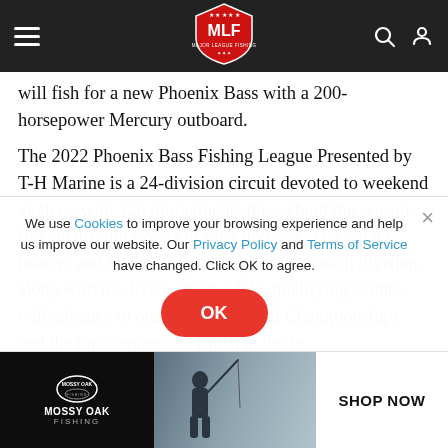[Figure (logo): MLF (Major League Fishing) navigation bar with hamburger menu, red shield logo, search icon, and user icon on dark background]
will fish for a new Phoenix Bass with a 200-horsepower Mercury outboard.
The 2022 Phoenix Bass Fishing League Presented by T-H Marine is a 24-division circuit devoted to weekend anglers, with 128 tournaments throughout the season, five qualifying events in each division. The top 45 boaters and Strike King co-anglers from each division, along with the five winners of the qualifying events, will advance to one of six Regional Championships and...
We use Cookies to improve your browsing experience and help us improve our website. Our Privacy Policy and Terms of Service have changed. Click OK to agree.
[Figure (photo): Mossy Oak Fishing advertisement banner showing a silhouette of a person fishing with a rod, dark background, with SHOP NOW button on the right]